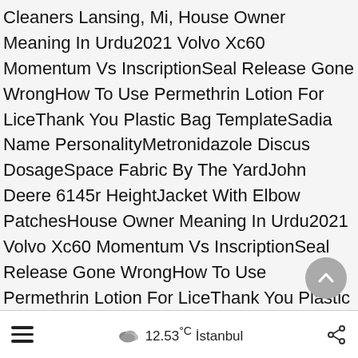Cleaners Lansing, Mi, House Owner Meaning In Urdu2021 Volvo Xc60 Momentum Vs InscriptionSeal Release Gone WrongHow To Use Permethrin Lotion For LiceThank You Plastic Bag TemplateSadia Name PersonalityMetronidazole Discus DosageSpace Fabric By The YardJohn Deere 6145r HeightJacket With Elbow PatchesHouse Owner Meaning In Urdu2021 Volvo Xc60 Momentum Vs InscriptionSeal Release Gone WrongHow To Use Permethrin Lotion For LiceThank You Plastic Bag TemplateSadia Name PersonalityMetronidazole Discus DosageSpace Fabric By The YardJohn Deere 6145r HeightJacket With Elbow Patches
≡  ☁ 12.53°C İstanbul  ⋘